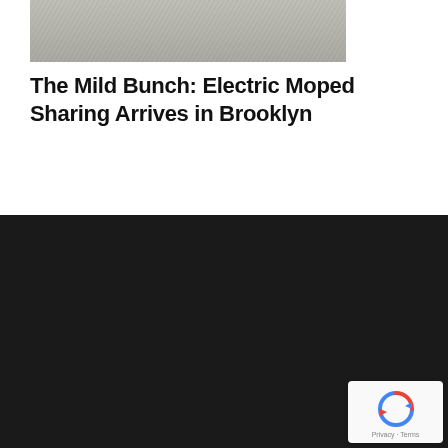[Figure (photo): Partial view of an article image, gray textured surface (concrete or pavement)]
The Mild Bunch: Electric Moped Sharing Arrives in Brooklyn
[Figure (logo): The Bridge Brooklyn Business News logo — white Brooklyn Bridge icon with THE BRIDGE text and BROOKLYN BUSINESS NEWS subtitle on dark background]
The Bridge is dedicated to reporting on business in Brooklyn. Our borough is bursting with stories of innovation–and we're here to tell them. Our journalists have written and edited for Time, Fortune, the New York Times, the Wall Street